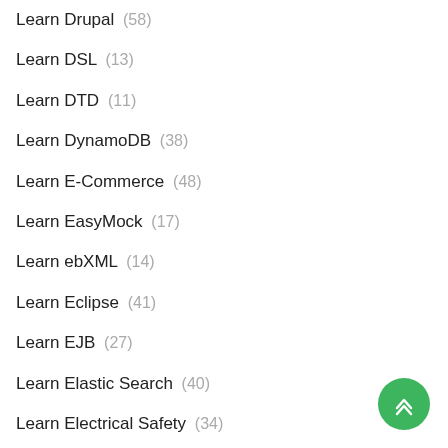Learn Drupal (58)
Learn DSL (13)
Learn DTD (11)
Learn DynamoDB (38)
Learn E-Commerce (48)
Learn EasyMock (17)
Learn ebXML (14)
Learn Eclipse (41)
Learn EJB (27)
Learn Elastic Search (40)
Learn Electrical Safety (34)
Learn Electron (23)
Learn Electronic Circuits (30)